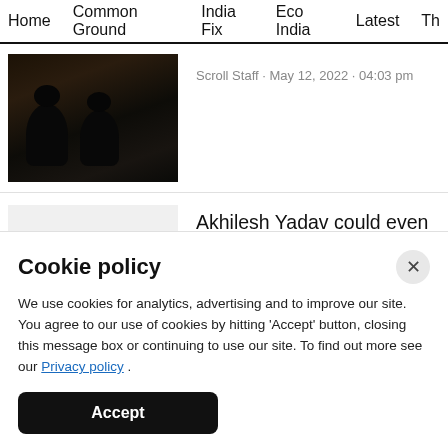Home  Common Ground  India Fix  Eco India  Latest  Th
[Figure (photo): Dark silhouette photo of two people sitting in low light, possibly in a jail or prison cell]
Scroll Staff · May 12, 2022 · 04:03 pm
[Figure (photo): Light gray placeholder thumbnail image]
Akhilesh Yadav could even convert to Islam merely for Muslim votes, claims UP minister
Cookie policy
We use cookies for analytics, advertising and to improve our site. You agree to our use of cookies by hitting 'Accept' button, closing this message box or continuing to use our site. To find out more see our Privacy policy .
Accept